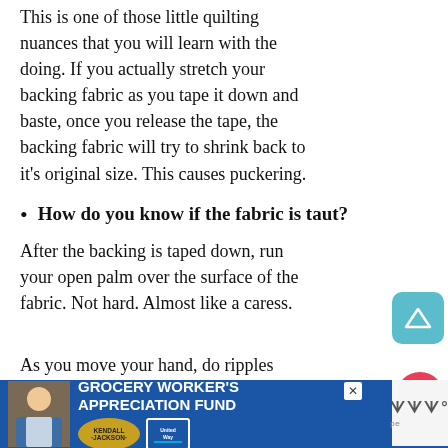This is one of those little quilting nuances that you will learn with the doing. If you actually stretch your backing fabric as you tape it down and baste, once you release the tape, the backing fabric will try to shrink back to it's original size. This causes puckering.
How do you know if the fabric is taut?
After the backing is taped down, run your open palm over the surface of the fabric. Not hard. Almost like a caress.
As you move your hand, do ripples
[Figure (other): Advertisement banner: Grocery Worker's Appreciation Fund with Kendall-Jackson and United Way logos, blue background, with a photo of a smiling person in an apron.]